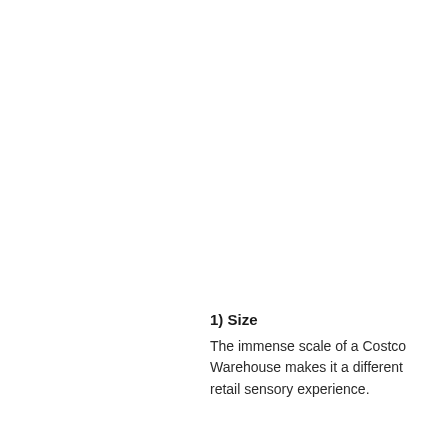1) Size
The immense scale of a Costco Warehouse makes it a different retail sensory experience.